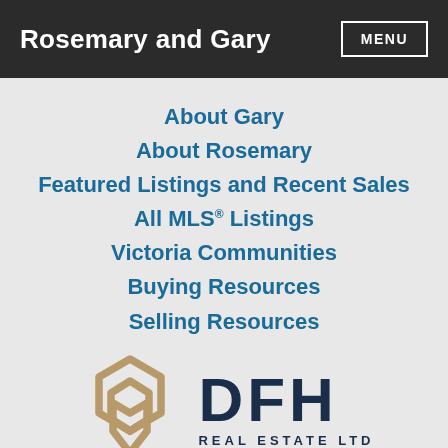Rosemary and Gary
About Gary
About Rosemary
Featured Listings and Recent Sales
All MLS® Listings
Victoria Communities
Buying Resources
Selling Resources
[Figure (logo): DFH Real Estate Ltd logo with geometric house icon in gold/tan color and DFH text in dark navy]